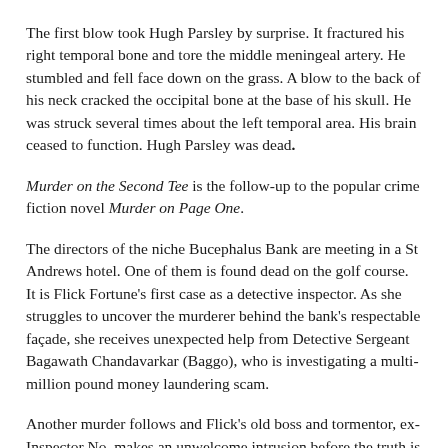The first blow took Hugh Parsley by surprise. It fractured his right temporal bone and tore the middle meningeal artery. He stumbled and fell face down on the grass. A blow to the back of his neck cracked the occipital bone at the base of his skull. He was struck several times about the left temporal area. His brain ceased to function. Hugh Parsley was dead.
Murder on the Second Tee is the follow-up to the popular crime fiction novel Murder on Page One.
The directors of the niche Bucephalus Bank are meeting in a St Andrews hotel. One of them is found dead on the golf course. It is Flick Fortune's first case as a detective inspector. As she struggles to uncover the murderer behind the bank's respectable façade, she receives unexpected help from Detective Sergeant Bagawath Chandavarkar (Baggo), who is investigating a multi-million pound money laundering scam.
Another murder follows and Flick's old boss and tormentor, ex-Inspector No, makes an unwelcome intrusion before the truth is revealed...